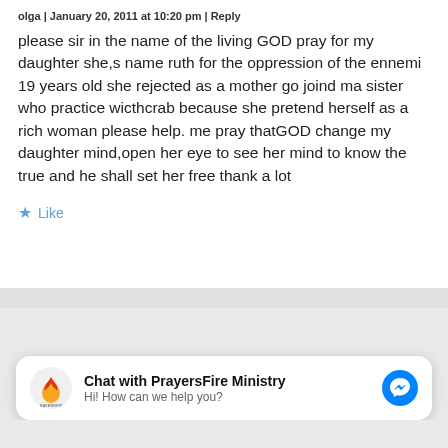olga | January 20, 2011 at 10:20 pm | Reply
please sir in the name of the living GOD pray for my daughter she,s name ruth for the oppression of the ennemi 19 years old she rejected as a mother go joind ma sister who practice wicthcrab because she pretend herself as a rich woman please help. me pray thatGOD change my daughter mind,open her eye to see her mind to know the true and he shall set her free thank a lot
Like
Chat with PrayersFire Ministry
Hi! How can we help you?